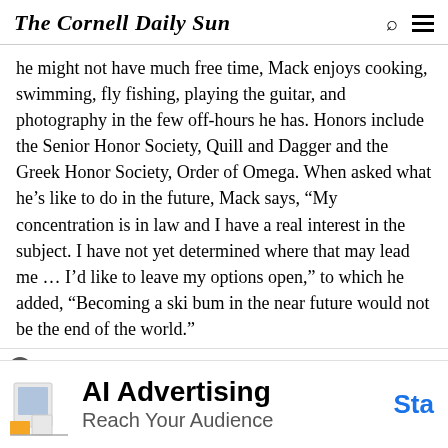The Cornell Daily Sun
he might not have much free time, Mack enjoys cooking, swimming, fly fishing, playing the guitar, and photography in the few off-hours he has. Honors include the Senior Honor Society, Quill and Dagger and the Greek Honor Society, Order of Omega. When asked what he’s like to do in the future, Mack says, “My concentration is in law and I have a real interest in the subject. I have not yet determined where that may lead me … I’d like to leave my options open,” to which he added, “Becoming a ski bum in the near future would not be the end of the world.”
nabel Mota ’03
[Figure (infographic): Advertisement banner: AI Advertising - Reach Your Audience, with Sta... button in blue]